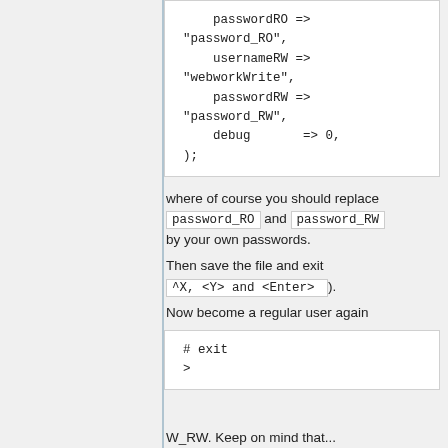passwordRO =>
"password_RO",
    usernameRW =>
"webworkWrite",
    passwordRW =>
"password_RW",
    debug       => 0,
);
where of course you should replace password_RO and password_RW by your own passwords.
Then save the file and exit ( ^X, <Y> and <Enter> ).
Now become a regular user again
# exit
>
W_RW. Keep on mind that...